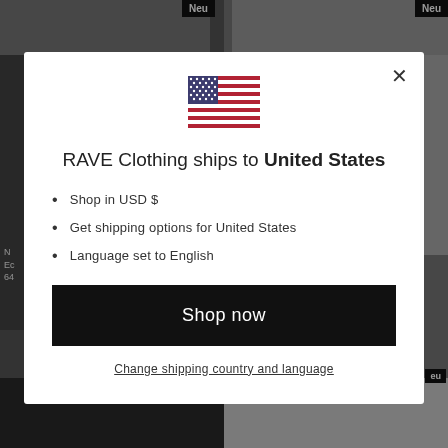[Figure (screenshot): Background of a clothing website with blurred product images on left and right panels, with 'Neu' badges on top]
[Figure (illustration): US flag SVG icon centered in modal]
RAVE Clothing ships to United States
Shop in USD $
Get shipping options for United States
Language set to English
Shop now
Change shipping country and language